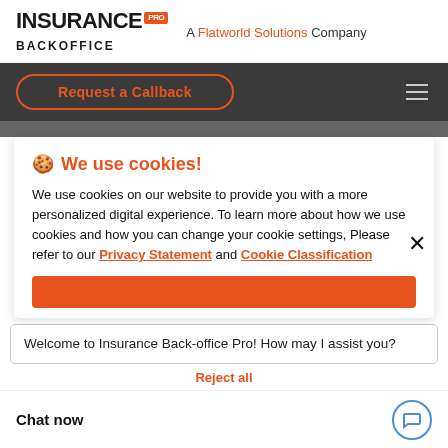[Figure (logo): Insurance Back Office Pro logo - A Flatworld Solutions Company]
[Figure (screenshot): Navigation bar with Request a Callback button and hamburger menu on dark background]
We use cookies!
We use cookies on our website to provide you with a more personalized digital experience. To learn more about how we use cookies and how you can change your cookie settings, Please refer to our Privacy Statement and Cookie Classification
[Figure (screenshot): Orange accept all button partially visible]
Welcome to Insurance Back-office Pro! How may I assist you?
Reject all
Chat now